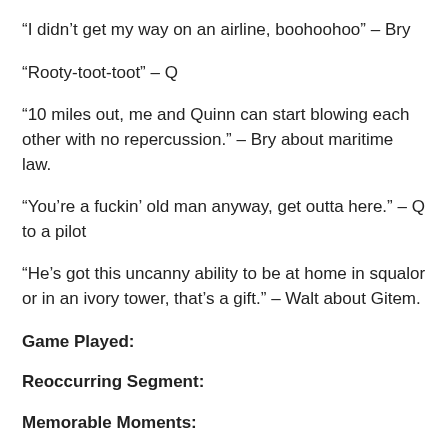“I didn’t get my way on an airline, boohoohoo” – Bry
“Rooty-toot-toot” – Q
“10 miles out, me and Quinn can start blowing each other with no repercussion.” – Bry about maritime law.
“You’re a fuckin’ old man anyway, get outta here.” – Q to a pilot
“He’s got this uncanny ability to be at home in squalor or in an ivory tower, that’s a gift.” – Walt about Gitem.
Game Played:
Reoccurring Segment:
Memorable Moments: